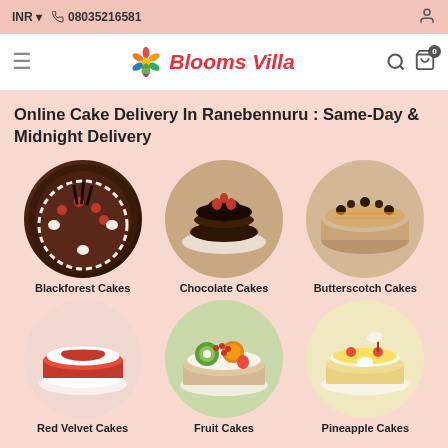INR  08035216581
[Figure (logo): Blooms Villa logo with flower icon and red italic text]
Online Cake Delivery In Ranebennuru : Same-Day & Midnight Delivery
[Figure (photo): Blackforest Cake circular image]
Blackforest Cakes
[Figure (photo): Chocolate Cake circular image]
Chocolate Cakes
[Figure (photo): Butterscotch Cake circular image]
Butterscotch Cakes
[Figure (photo): Red Velvet Cake circular image]
Red Velvet Cakes
[Figure (photo): Fruit Cake circular image]
Fruit Cakes
[Figure (photo): Pineapple Cake circular image]
Pineapple Cakes